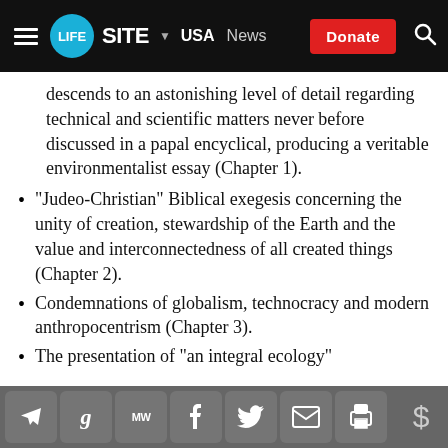LifeSite | USA | News | Donate
descends to an astonishing level of detail regarding technical and scientific matters never before discussed in a papal encyclical, producing a veritable environmentalist essay (Chapter 1).
“Judeo-Christian” Biblical exegesis concerning the unity of creation, stewardship of the Earth and the value and interconnectedness of all created things (Chapter 2).
Condemnations of globalism, technocracy and modern anthropocentrism (Chapter 3).
The presentation of “an integral ecology”
Social share toolbar: Telegram, Google, MeWe, Facebook, Twitter, Email, Print, Donate